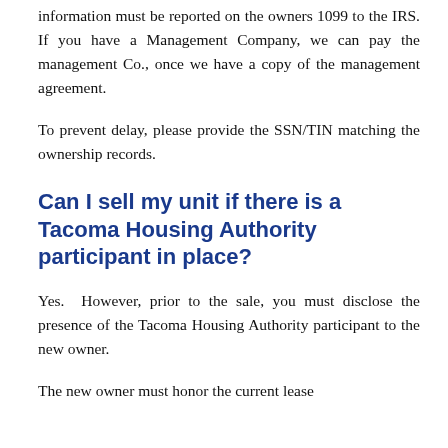information must be reported on the owners 1099 to the IRS. If you have a Management Company, we can pay the management Co., once we have a copy of the management agreement.
To prevent delay, please provide the SSN/TIN matching the ownership records.
Can I sell my unit if there is a Tacoma Housing Authority participant in place?
Yes. However, prior to the sale, you must disclose the presence of the Tacoma Housing Authority participant to the new owner.
The new owner must honor the current lease